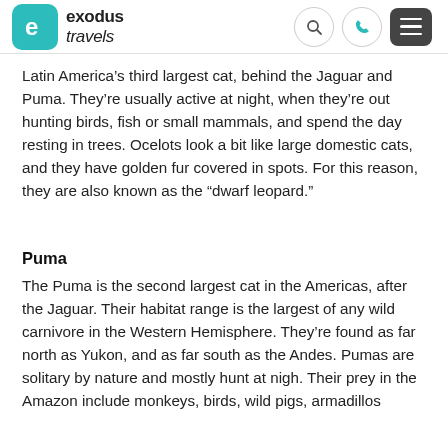exodus travels
Latin America’s third largest cat, behind the Jaguar and Puma. They’re usually active at night, when they’re out hunting birds, fish or small mammals, and spend the day resting in trees. Ocelots look a bit like large domestic cats, and they have golden fur covered in spots. For this reason, they are also known as the “dwarf leopard.”
Puma
The Puma is the second largest cat in the Americas, after the Jaguar. Their habitat range is the largest of any wild carnivore in the Western Hemisphere. They’re found as far north as Yukon, and as far south as the Andes. Pumas are solitary by nature and mostly hunt at nigh. Their prey in the Amazon include monkeys, birds, wild pigs, armadillos